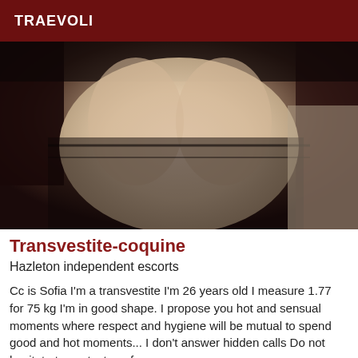TRAEVOLI
[Figure (photo): A person in black lace lingerie photographed from behind, showing their back and lower body]
Transvestite-coquine
Hazleton independent escorts
Cc is Sofia I'm a transvestite I'm 26 years old I measure 1.77 for 75 kg I'm in good shape. I propose you hot and sensual moments where respect and hygiene will be mutual to spend good and hot moments... I don't answer hidden calls Do not hesitate to contact me for more